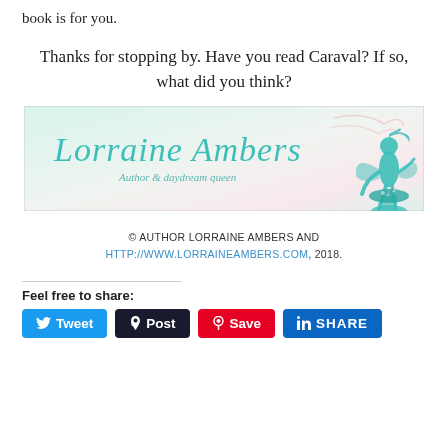book is for you.
Thanks for stopping by. Have you read Caraval? If so, what did you think?
[Figure (illustration): Lorraine Ambers author banner with teal cursive logo text 'Lorraine Ambers', subtitle 'Author & daydream queen', decorative fairy/mushroom silhouette on right, pastel green and pink background with handwritten script texture.]
© AUTHOR LORRAINE AMBERS AND HTTP://WWW.LORRAINEAMBERS.COM, 2018.
Feel free to share:
Tweet  Post  Save  SHARE